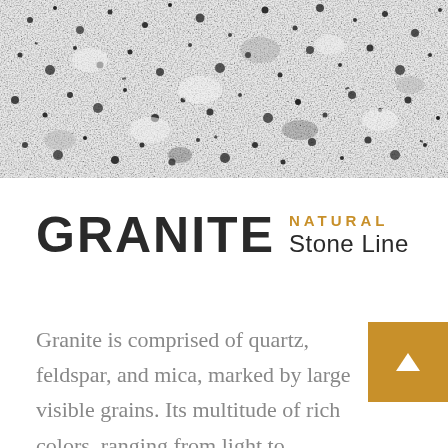[Figure (photo): Close-up photograph of granite stone surface showing white, grey, and black speckled pattern with large visible mineral grains]
GRANITE NATURAL Stone Line
Granite is comprised of quartz, feldspar, and mica, marked by large visible grains. Its multitude of rich colors, ranging from light to